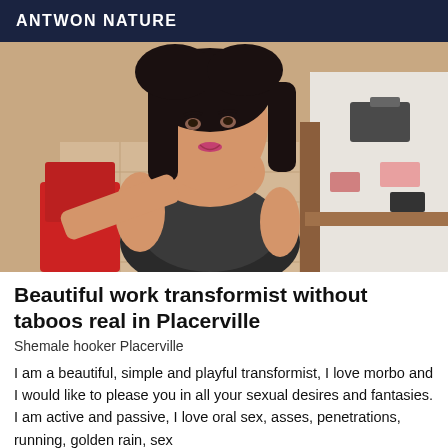ANTWON NATURE
[Figure (photo): A woman with dark hair taking a selfie, seated in a room with a bed and tiled floor visible in the background.]
Beautiful work transformist without taboos real in Placerville
Shemale hooker Placerville
I am a beautiful, simple and playful transformist, I love morbo and I would like to please you in all your sexual desires and fantasies. I am active and passive, I love oral sex, asses, penetrations, running, golden rain, sex